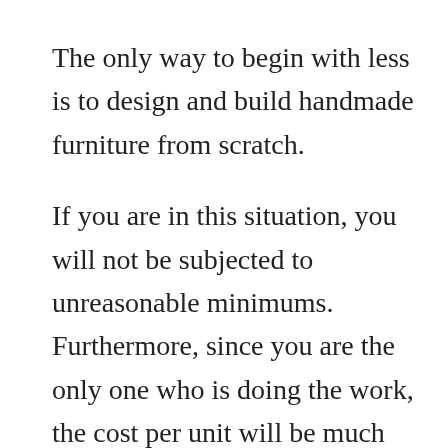The only way to begin with less is to design and build handmade furniture from scratch.
If you are in this situation, you will not be subjected to unreasonable minimums. Furthermore, since you are the only one who is doing the work, the cost per unit will be much reduced. On top of that, handmade furniture may be offered at high-end pricing, making it an excellent option to launch a new